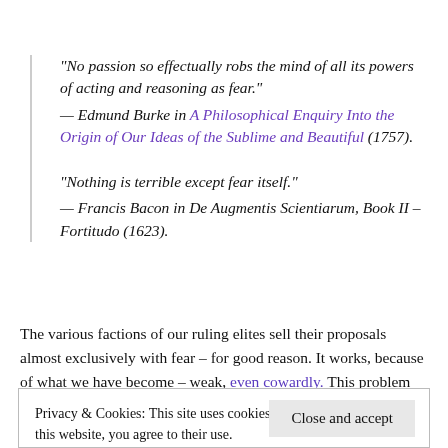“No passion so effectually robs the mind of all its powers of acting and reasoning as fear.” — Edmund Burke in A Philosophical Enquiry Into the Origin of Our Ideas of the Sublime and Beautiful (1757).
“Nothing is terrible except fear itself.” — Francis Bacon in De Augmentis Scientiarum, Book II – Fortitudo (1623).
The various factions of our ruling elites sell their proposals almost exclusively with fear – for good reason. It works, because of what we have become – weak, even cowardly. This problem should be addressed directly. Our past offers ample examples. On 4 March 1933, during one of the darkest times in our
Privacy & Cookies: This site uses cookies. By continuing to use this website, you agree to their use.
To find out more, including how to control cookies, see here: Cookie Policy
the time to speak the truth, the whole truth, frankly and boldly. Nor